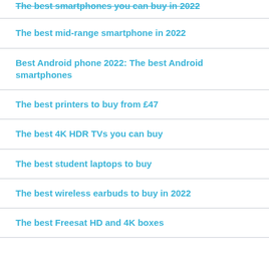The best smartphones you can buy in 2022
The best mid-range smartphone in 2022
Best Android phone 2022: The best Android smartphones
The best printers to buy from £47
The best 4K HDR TVs you can buy
The best student laptops to buy
The best wireless earbuds to buy in 2022
The best Freesat HD and 4K boxes